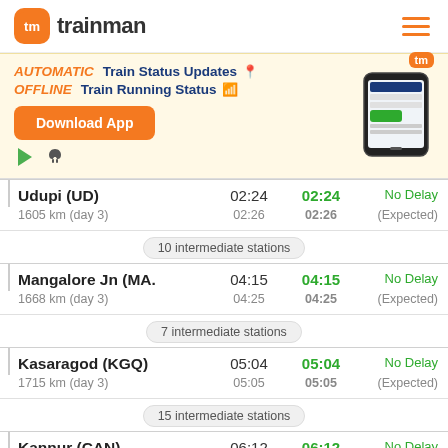[Figure (logo): Trainman app logo with orange rounded square icon and 'tm' text, followed by 'trainman' wordmark]
[Figure (infographic): App download banner: AUTOMATIC Train Status Updates, OFFLINE Train Running Status, Download App button, Play Store and App Store icons, phone screenshot]
| Station | Scheduled | Actual | Status |
| --- | --- | --- | --- |
| Udupi (UD) | 02:24 | 02:24 | No Delay |
| 1605 km (day 3) | 02:26 | 02:26 | (Expected) |
| 10 intermediate stations |  |  |  |
| Mangalore Jn (MA. | 04:15 | 04:15 | No Delay |
| 1668 km (day 3) | 04:25 | 04:25 | (Expected) |
| 7 intermediate stations |  |  |  |
| Kasaragod (KGQ) | 05:04 | 05:04 | No Delay |
| 1715 km (day 3) | 05:05 | 05:05 | (Expected) |
| 15 intermediate stations |  |  |  |
| Kannur (CAN) | 06:12 | 06:12 | No Delay |